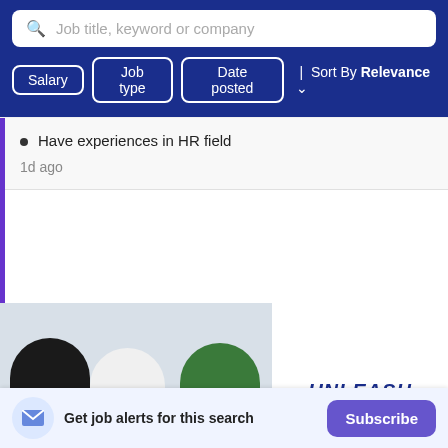[Figure (screenshot): Job search bar with placeholder text 'Job title, keyword or company' and filter buttons for Salary, Job type, Date posted, and Sort By Relevance on a dark blue background]
Have experiences in HR field
1d ago
[Figure (photo): Banner image showing three people working together at a desk with a laptop. Text overlay says 'UNLEASH YOUR POTENTIAL']
Get job alerts for this search
Subscribe